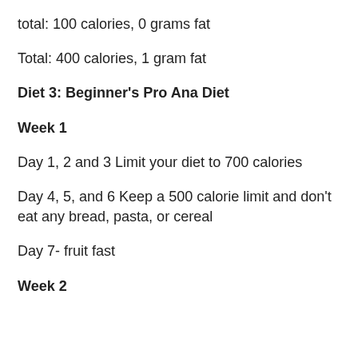total: 100 calories, 0 grams fat
Total: 400 calories, 1 gram fat
Diet 3: Beginner's Pro Ana Diet
Week 1
Day 1, 2 and 3 Limit your diet to 700 calories
Day 4, 5, and 6 Keep a 500 calorie limit and don't eat any bread, pasta, or cereal
Day 7- fruit fast
Week 2